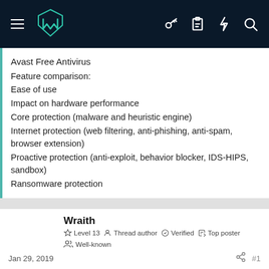[Figure (logo): Malwarebytes forum navigation bar with hamburger menu, teal logo, and icons for key, clipboard, lightning, and search]
Avast Free Antivirus
Feature comparison:
Ease of use
Impact on hardware performance
Core protection (malware and heuristic engine)
Internet protection (web filtering, anti-phishing, anti-spam, browser extension)
Proactive protection (anti-exploit, behavior blocker, IDS-HIPS, sandbox)
Ransomware protection
[Figure (logo): Wraith user avatar with red Malwarebytes M shield logo on white/gray circular background]
Wraith
Level 13  Thread author  Verified  Top poster
Well-known
Jan 29, 2019